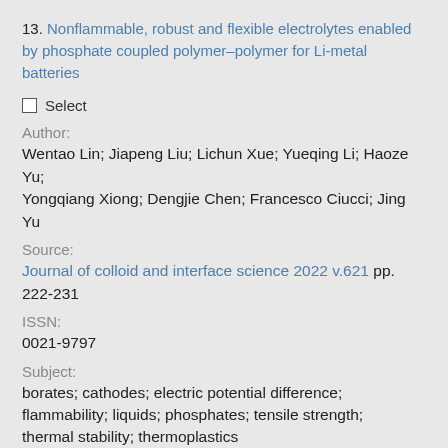13. Nonflammable, robust and flexible electrolytes enabled by phosphate coupled polymer–polymer for Li-metal batteries
Select
Author:
Wentao Lin; Jiapeng Liu; Lichun Xue; Yueqing Li; Haoze Yu; Yongqiang Xiong; Dengjie Chen; Francesco Ciucci; Jing Yu
Source:
Journal of colloid and interface science 2022 v.621 pp. 222-231
ISSN:
0021-9797
Subject:
borates; cathodes; electric potential difference; flammability; liquids; phosphates; tensile strength; thermal stability; thermoplastics